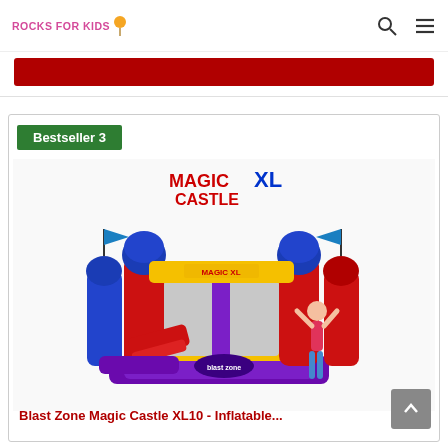ROCKS FOR KIDS
[Figure (photo): Bestseller 3 product card showing the Blast Zone Magic Castle XL inflatable bounce house with a child standing next to it, colorful inflatable with red, blue, yellow and purple colors, flags on towers]
Blast Zone Magic Castle XL10 - Inflatable...